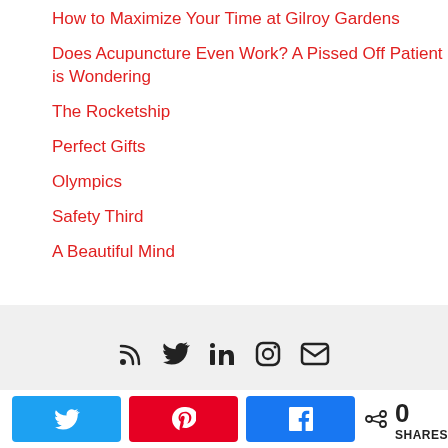How to Maximize Your Time at Gilroy Gardens
Does Acupuncture Even Work? A Pissed Off Patient is Wondering
The Rocketship
Perfect Gifts
Olympics
Safety Third
A Beautiful Mind
RSS Twitter LinkedIn Instagram Email | Share buttons: Twitter, Pinterest, Facebook | 0 SHARES